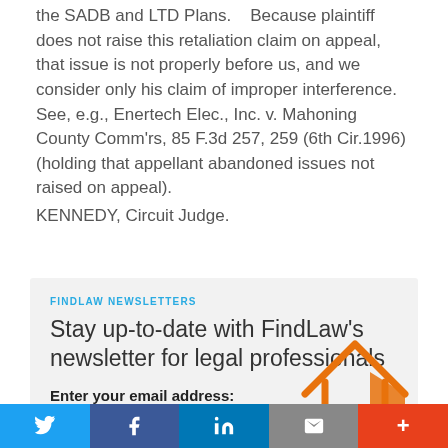the SADB and LTD Plans.    Because plaintiff does not raise this retaliation claim on appeal, that issue is not properly before us, and we consider only his claim of improper interference.    See, e.g., Enertech Elec., Inc. v. Mahoning County Comm'rs, 85 F.3d 257, 259 (6th Cir.1996) (holding that appellant abandoned issues not raised on appeal).
KENNEDY, Circuit Judge.
[Figure (infographic): FindLaw Newsletters signup box with email input and orange button, and a decorative house icon outline in orange]
FINDLAW NEWSLETTERS
Stay up-to-date with FindLaw's newsletter for legal professionals
Enter your email address:
[Figure (infographic): Social sharing bar with Twitter (blue), Facebook (dark blue), LinkedIn (blue), Email (gray), and More (red) buttons]